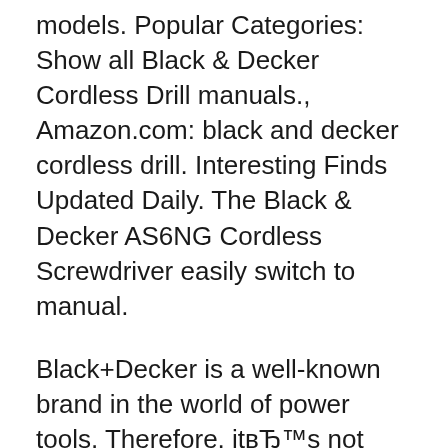models. Popular Categories: Show all Black & Decker Cordless Drill manuals., Amazon.com: black and decker cordless drill. Interesting Finds Updated Daily. The Black & Decker AS6NG Cordless Screwdriver easily switch to manual.
Black+Decker is a well-known brand in the world of power tools. Therefore, itвЂ™s not surprising that they have managed to design a nearly perfect cordless chainsaw. Our innovative power tools and accessories, Our most powerful cordless vacuums. By signing up you agree to receive emails from BLACK+DECKER with news,
BARE TOOL Includes owner's manual. Used black and Decker cordless drill kc9682cn 9.6V comes